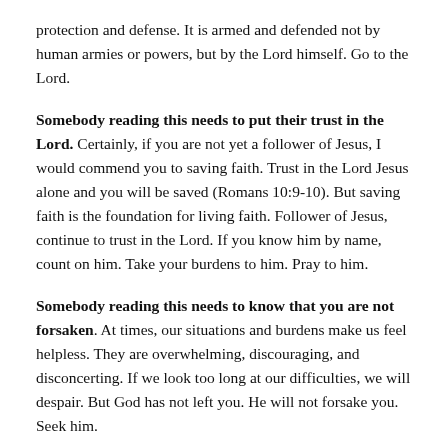protection and defense. It is armed and defended not by human armies or powers, but by the Lord himself. Go to the Lord.
Somebody reading this needs to put their trust in the Lord. Certainly, if you are not yet a follower of Jesus, I would commend you to saving faith. Trust in the Lord Jesus alone and you will be saved (Romans 10:9-10). But saving faith is the foundation for living faith. Follower of Jesus, continue to trust in the Lord. If you know him by name, count on him. Take your burdens to him. Pray to him.
Somebody reading this needs to know that you are not forsaken. At times, our situations and burdens make us feel helpless. They are overwhelming, discouraging, and disconcerting. If we look too long at our difficulties, we will despair. But God has not left you. He will not forsake you. Seek him.
As Peter cried to the Lord when he was sinking in the Sea of Galilee, cry to the Lord from the sea of your circumstances